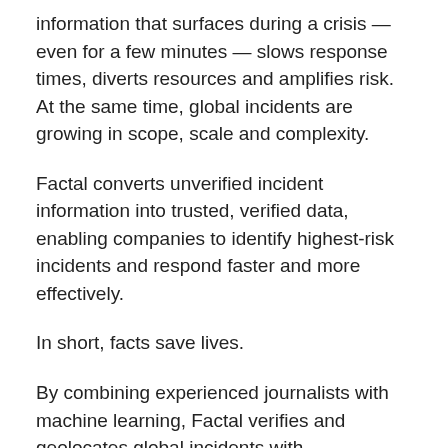information that surfaces during a crisis — even for a few minutes — slows response times, diverts resources and amplifies risk. At the same time, global incidents are growing in scope, scale and complexity.
Factal converts unverified incident information into trusted, verified data, enabling companies to identify highest-risk incidents and respond faster and more effectively.
In short, facts save lives.
By combining experienced journalists with machine learning, Factal verifies and geolocates global incidents with unprecedented speed and accuracy for a variety of use cases — both human and algorithmic. For example, you don't want your self-driving car driving you into a wildfire. While there are dozens of new global initiatives to fight mis, and disinformation in politics and elections